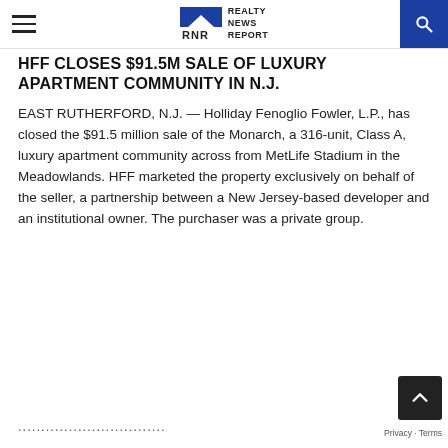Realty News Report
HFF CLOSES $91.5M SALE OF LUXURY APARTMENT COMMUNITY IN N.J.
EAST RUTHERFORD, N.J. — Holliday Fenoglio Fowler, L.P., has closed the $91.5 million sale of the Monarch, a 316-unit, Class A, luxury apartment community across from MetLife Stadium in the Meadowlands. HFF marketed the property exclusively on behalf of the seller, a partnership between a New Jersey-based developer and an institutional owner. The purchaser was a private group.